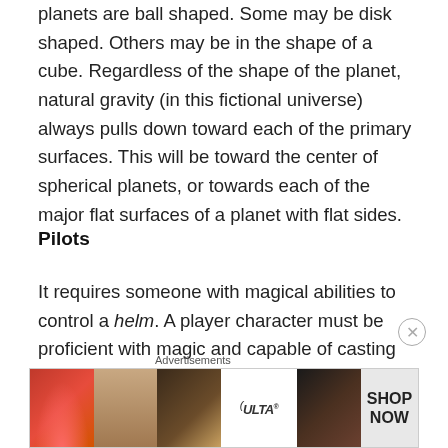planets are ball shaped. Some may be disk shaped. Others may be in the shape of a cube. Regardless of the shape of the planet, natural gravity (in this fictional universe) always pulls down toward each of the primary surfaces. This will be toward the center of spherical planets, or towards each of the major flat surfaces of a planet with flat sides.
Pilots
It requires someone with magical abilities to control a helm. A player character must be proficient with magic and capable of casting magical spells. The person that controls the helm is called the pilot.  The more powerful the pilot,
[Figure (other): Advertisements banner showing beauty/makeup imagery with Ulta logo and SHOP NOW call-to-action]